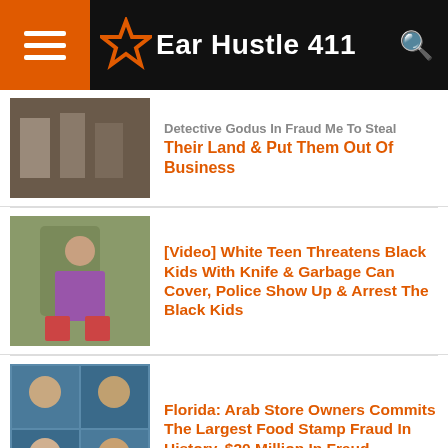Ear Hustle 411
Detective Godus In Fraud Me To Steal Their Land & Put Them Out Of Business
[Figure (photo): People in a street scene, dark tones]
[Video] White Teen Threatens Black Kids With Knife & Garbage Can Cover, Police Show Up & Arrest The Black Kids
[Figure (photo): Girl outdoors scene]
Florida: Arab Store Owners Commits The Largest Food Stamp Fraud In History, $20 Million In Fraud
[Figure (photo): Mugshots of four men on blue background]
Get a Taste for Our Gourmet Food & Gift
Chocolate Gifts - Fruit Baskets - Baked Goods
www.1800flowers.com